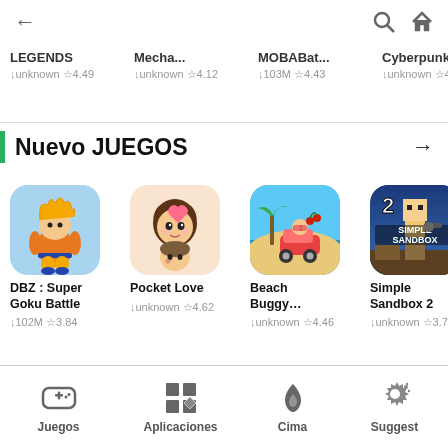← (back) 🔍 🏠
[Figure (screenshot): Partially visible app icons row: LEGENDS (unknown, ☆4.49), Mecha… (unknown, ☆4.12), MOBABat… (103M, ☆4.43), Cyberpunk… (unknown, ☆4.50)]
Nuevo JUEGOS →
[Figure (screenshot): DBZ : Super Goku Battle app icon - anime fighter character]
DBZ : Super Goku Battle
↓102M ☆3.84
[Figure (screenshot): Pocket Love app icon - cute anime couple]
Pocket Love
↓unknown ☆4.62
[Figure (screenshot): Beach Buggy… app icon - racing game]
Beach Buggy…
↓unknown ☆4.46
[Figure (screenshot): Simple Sandbox 2 app icon - block game character with '2 SIMPLE SANDBOX' text]
Simple Sandbox 2
↓unknown ☆3.79
Juegos  Aplicaciones  Cima  Suggest